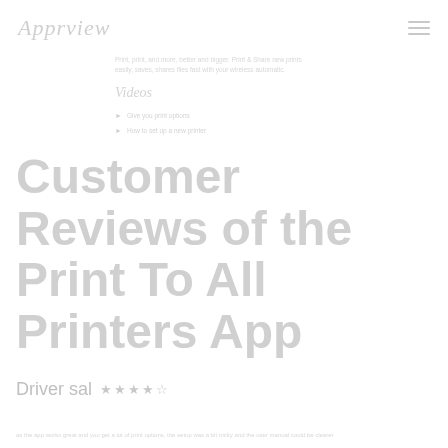Apprview
Print, print, and more, better and bigger. Print & Share new prints easily, saves, shares files fast with your wireless automatic.
Videos
Give you print options
How to set up a new printer
Customer Reviews of the Print To All Printers App
Driver sal
Review text (partial, faded)